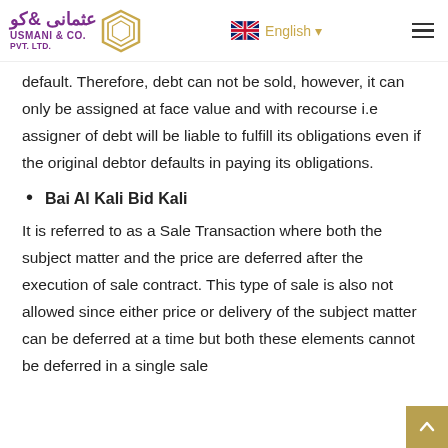Usmani & Co. Pvt. Ltd. — English
default. Therefore, debt can not be sold, however, it can only be assigned at face value and with recourse i.e assigner of debt will be liable to fulfill its obligations even if the original debtor defaults in paying its obligations.
Bai Al Kali Bid Kali
It is referred to as a Sale Transaction where both the subject matter and the price are deferred after the execution of sale contract. This type of sale is also not allowed since either price or delivery of the subject matter can be deferred at a time but both these elements cannot be deferred in a single sale